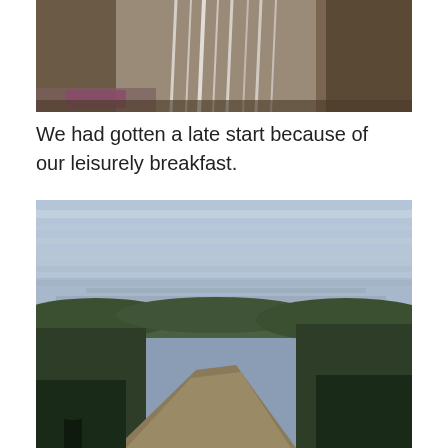[Figure (photo): Partial view of a waterfall cascading down a rocky cliff face, with brown rocky walls and some foliage visible at edges.]
We had gotten a late start because of our leisurely breakfast.
[Figure (photo): Aerial or elevated view of a winding river cutting through a forested gorge with dark evergreen and bare trees on hillsides, under a cloudy grey-blue sky.]